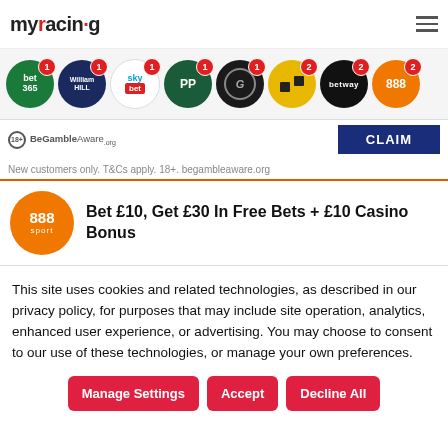myracing (hamburger menu icon)
[Figure (infographic): Row of bookmaker logos (bet365, William Hill, Sky Bet, PaddyPower, Gala, Betfair, Betway, 888sport) with numbered red badge overlays]
BeGambleAware.org   CLAIM
New customers only. T&Cs apply. 18+. begambleaware.org
Bet £10, Get £30 In Free Bets + £10 Casino Bonus
This site uses cookies and related technologies, as described in our privacy policy, for purposes that may include site operation, analytics, enhanced user experience, or advertising. You may choose to consent to our use of these technologies, or manage your own preferences.
Manage Settings   Accept   Decline All